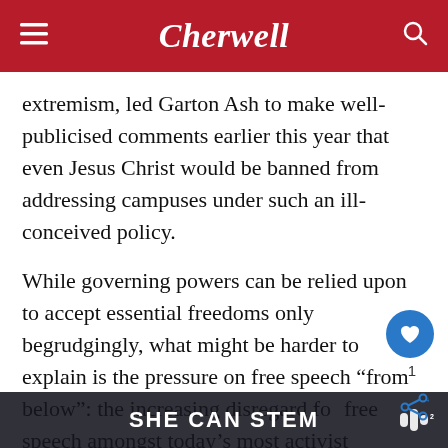Cherwell
extremism, led Garton Ash to make well-publicised comments earlier this year that even Jesus Christ would be banned from addressing campuses under such an ill-conceived policy.
While governing powers can be relied upon to accept essential freedoms only begrudgingly, what might be harder to explain is the pressure on free speech “from below”: the increasing disregard for free speech amongst today’s most activist students. He tells me he wants to be careful though: “I’m very suspicious of middle-aged people ex… e finds.
SHE CAN STEM